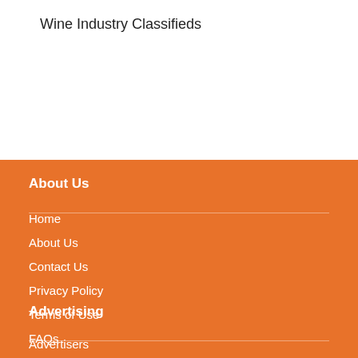Wine Industry Classifieds
About Us
Home
About Us
Contact Us
Privacy Policy
Terms of Use
FAQs
Advertising
Advertisers
Pricing